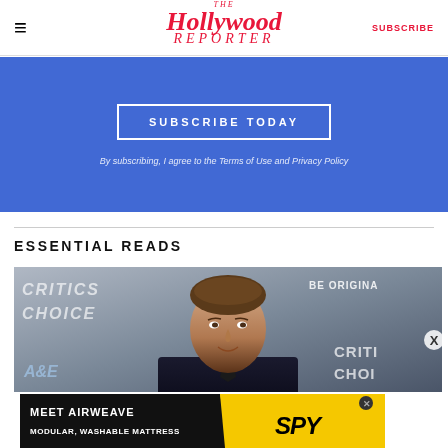≡  The Hollywood Reporter  SUBSCRIBE
SUBSCRIBE TODAY
By subscribing, I agree to the Terms of Use and Privacy Policy
ESSENTIAL READS
[Figure (photo): Man at Critics Choice event with A&E and Be Original backdrop]
[Figure (infographic): Advertisement: MEET AIRWEAVE MODULAR, WASHABLE MATTRESS - SPY brand ad with black and yellow sections]